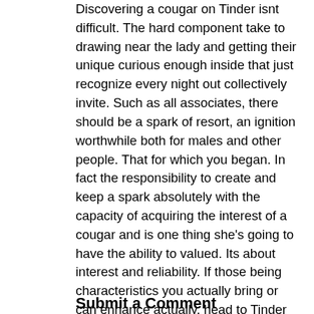Discovering a cougar on Tinder isnt difficult. The hard component take to drawing near the lady and getting their unique curious enough inside that just recognize every night out collectively invite. Such as all associates, there should be a spark of resort, an ignition worthwhile both for males and other people. That for which you began. In fact the responsibility to create and keep a spark absolutely with the capacity of acquiring the interest of a cougar and is one thing she's going to have the ability to valued. Its about interest and reliability. If those being characteristics you actually bring or can enhance actually, head to Tinder and surely get yourself a cougar.
Submit a Comment